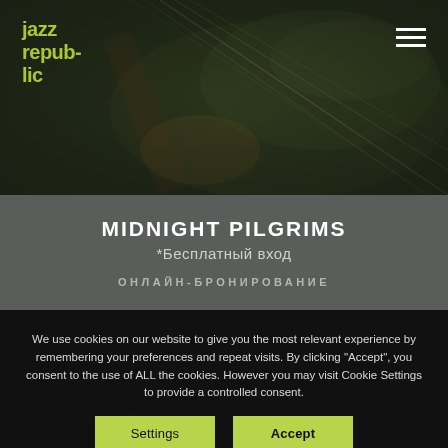[Figure (photo): Header background photo showing a person playing an electric guitar, dark toned with green tints. Jazz Republic logo in green on top left, hamburger menu icon on top right.]
MIDNIGHT PILGRIMS
*Бесплатный вход
ОНЛАЙН-БРОНИРОВАНИЕ
We use cookies on our website to give you the most relevant experience by remembering your preferences and repeat visits. By clicking "Accept", you consent to the use of ALL the cookies. However you may visit Cookie Settings to provide a controlled consent.
Settings
Accept
You can refuse consent here.